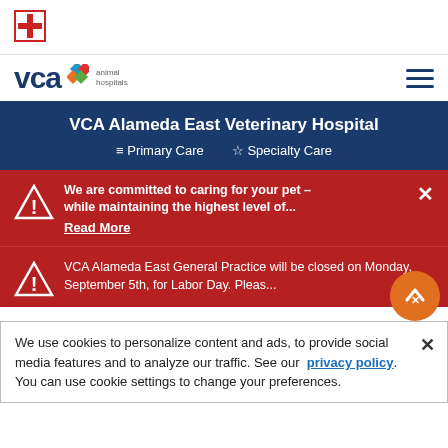[Figure (logo): Red cross/plus icon in a square border]
[Figure (logo): VCA Animal Hospitals logo with colorful diamond shapes]
VCA Alameda East Veterinary Hospital
≡ Primary Care   ☆ Specialty Care
We are committed to caring for your pet – while maintaining the highest level of... Read More
VCA Alameda East General Practice will be closed on Monday, September 5th, for Labor Day. Pleas...
We use cookies to personalize content and ads, to provide social media features and to analyze our traffic. See our privacy policy. You can use cookie settings to change your preferences.